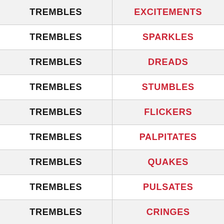| Word | Synonym |
| --- | --- |
| TREMBLES | EXCITEMENTS |
| TREMBLES | SPARKLES |
| TREMBLES | DREADS |
| TREMBLES | STUMBLES |
| TREMBLES | FLICKERS |
| TREMBLES | PALPITATES |
| TREMBLES | QUAKES |
| TREMBLES | PULSATES |
| TREMBLES | CRINGES |